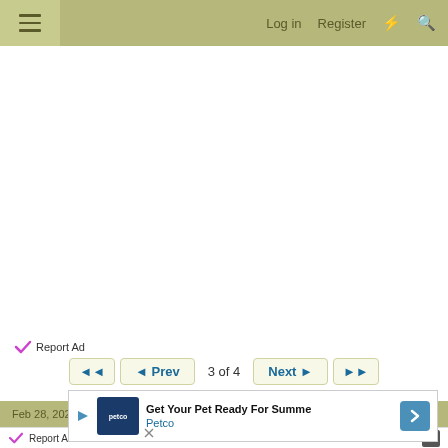≡   Log in   Register   ⚡   🔍
Report Ad
◄◄   ◄ Prev   3 of 4   Next ►   ►►
Feb 28, 2021   #41
Report Ad
[Figure (infographic): Petco advertisement banner: 'Get Your Pet Ready For Summe' with Petco logo and navigation arrow icon]